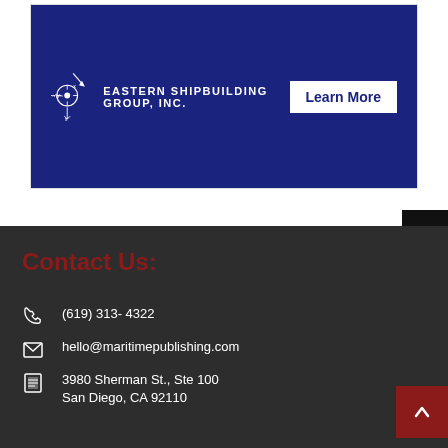[Figure (logo): Eastern Shipbuilding Group, Inc. advertisement banner with compass logo on dark blue background and 'Learn More' button]
Contact Us:
(619) 313- 4322
hello@maritimepublishing.com
3980 Sherman St., Ste 100
San Diego, CA 92110